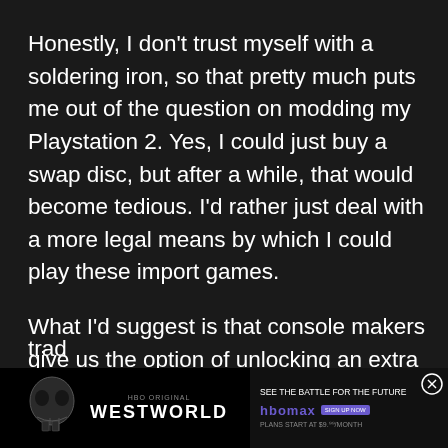Honestly, I don't trust myself with a soldering iron, so that pretty much puts me out of the question on modding my Playstation 2. Yes, I could just buy a swap disc, but after a while, that would become tedious. I'd rather just deal with a more legal means by which I could play these import games.
What I'd suggest is that console makers give us the option of unlocking an extra region on the console for a fee. This would mean that gamers would have Microsoft, Nintendo, and Sony on their side when it comes to negotiating the international trad...
Th...
[Figure (other): Advertisement banner for HBO Max Westworld show, showing a skull robot image on left, Westworld title in center, and 'SEE THE BATTLE FOR THE FUTURE HBOMAX SIGN UP NOW PLANS START AT $9.99/MONTH' text on right with a close button.]